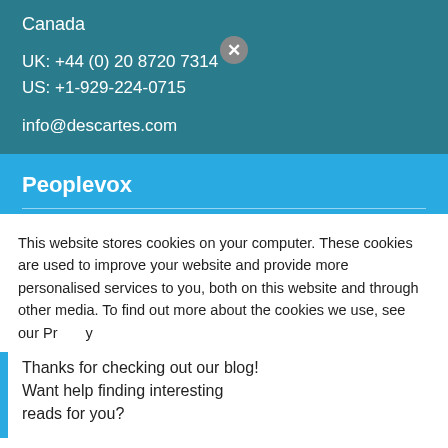Canada
UK: +44 (0) 20 8720 7314
US: +1-929-224-0715
info@descartes.com
Peoplevox
Software Overview
This website stores cookies on your computer. These cookies are used to improve your website and provide more personalised services to you, both on this website and through other media. To find out more about the cookies we use, see our Privacy Policy.
Thanks for checking out our blog! Want help finding interesting reads for you?